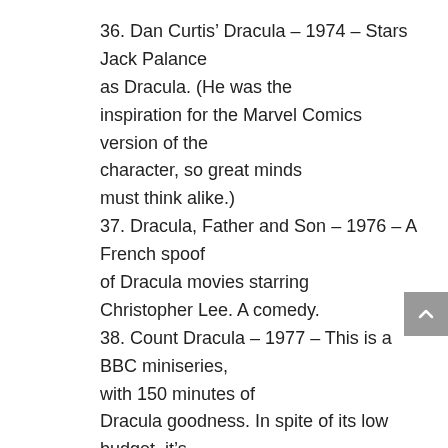36. Dan Curtis' Dracula – 1974 – Stars Jack Palance as Dracula. (He was the inspiration for the Marvel Comics version of the character, so great minds must think alike.)
37. Dracula, Father and Son – 1976 – A French spoof of Dracula movies starring Christopher Lee. A comedy.
38. Count Dracula – 1977 – This is a BBC miniseries, with 150 minutes of Dracula goodness. In spite of its low budget, it's remarkably faithful to the original novel.
39. Zoltan, Hound of Dracula – 1978 – Dracula's dog is the villain in this one, and the main character is a psychiatrist.
40. Dracula – 1979 – Frank Langella portrays